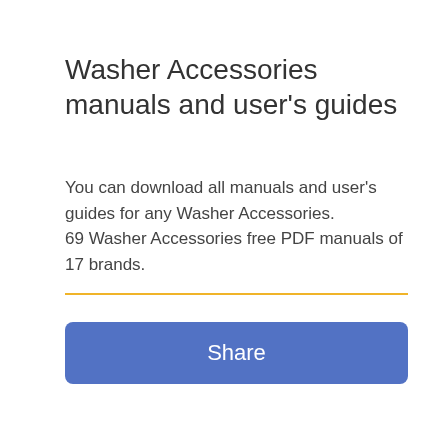Washer Accessories manuals and user's guides
You can download all manuals and user's guides for any Washer Accessories.
69 Washer Accessories free PDF manuals of 17 brands.
[Figure (other): Horizontal yellow divider line]
[Figure (other): Blue Share button with rounded corners]